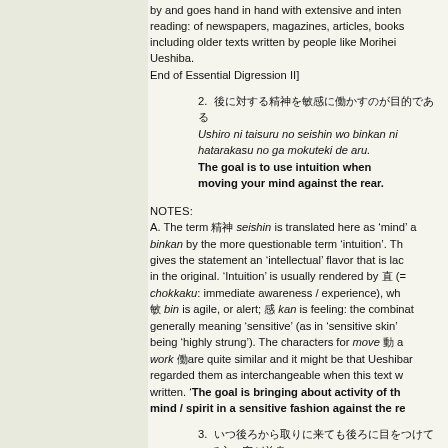by and goes hand in hand with extensive and intensive reading: of newspapers, magazines, articles, books including older texts written by people like Morihei Ueshiba.
End of Essential Digression II]
2. [Japanese] Ushiro ni taisuru no seishin wo binkan ni hatarakasu no ga mokuteki de aru. The goal is to use intuition when moving your mind against the rear.
NOTES:
A. The term [Japanese] seishin is translated here as 'mind' and binkan by the more questionable term 'intuition'. This gives the statement an 'intellectual' flavor that is lacking in the original. 'Intuition' is usually rendered by [Japanese] (= chokkaku: immediate awareness / experience), where [Japanese] bin is agile, or alert; [Japanese] kan is feeling: the combination generally meaning 'sensitive' (as in 'sensitive skin' or being 'highly strung'). The characters for move [Japanese] and work [Japanese]are quite similar and it might be that Ueshiba regarded them as interchangeable when this text was written. 'The goal is bringing about activity of the mind / spirit in a sensitive fashion against the rear.
3. [Japanese] Itsu ushiro kara tori ni kitemo ushiro ni me wo tsukete ite kokoro no mado ga zenshin...